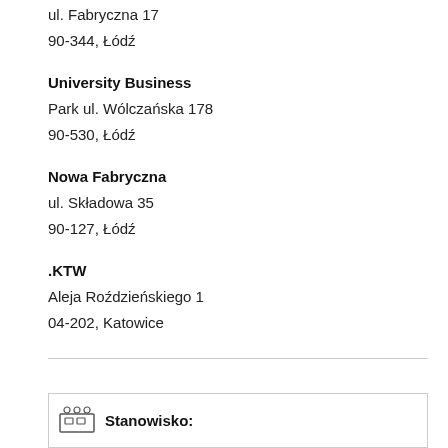ul. Fabryczna 17
90-344, Łódź
University Business
Park ul. Wólczańska 178
90-530, Łódź
Nowa Fabryczna
ul. Składowa 35
90-127, Łódź
.KTW
Aleja Roździeńskiego 1
04-202, Katowice
Stanowisko: